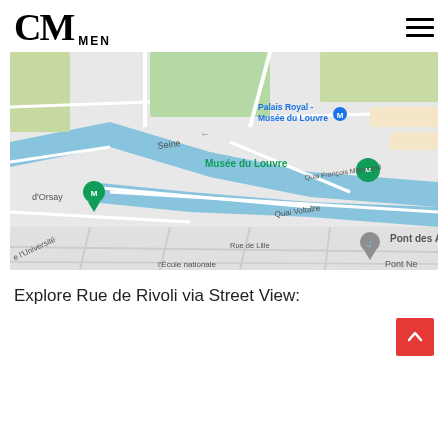CM MEN
[Figure (map): Google Maps screenshot showing Paris area around the Seine river, with labels for Palais Royal - Musée du Louvre, Musée du Louvre, d'Orsay, Quai Voltaire, Quai François Mitterrand, Pont des Arts, Rue de Lille, and l'École nationale. Blue river areas (Seine) are visible, along with green parks and gray street grid.]
Explore Rue de Rivoli via Street View: